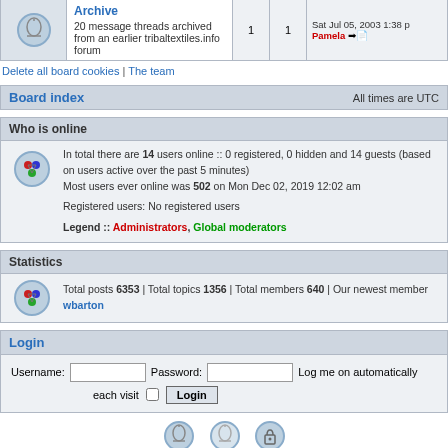| Icon | Archive | Posts | Topics | Last post |
| --- | --- | --- | --- | --- |
| [icon] | Archive
20 message threads archived from an earlier tribaltextiles.info forum | 1 | 1 | Sat Jul 05, 2003 1:38 p
Pamela |
Delete all board cookies | The team
Board index	All times are UTC
Who is online
In total there are 14 users online :: 0 registered, 0 hidden and 14 guests (based on users active over the past 5 minutes)
Most users ever online was 502 on Mon Dec 02, 2019 12:02 am

Registered users: No registered users

Legend :: Administrators, Global moderators
Statistics
Total posts 6353 | Total topics 1356 | Total members 640 | Our newest member wbarton
Login
Username: [input] Password: [input] Log me on automatically each visit [checkbox] Login
[Figure (infographic): Footer icons: unread posts bell icon, no unread posts icon, forum locked padlock icon]
Powered by phpBB® Forum Software © phpBB Group